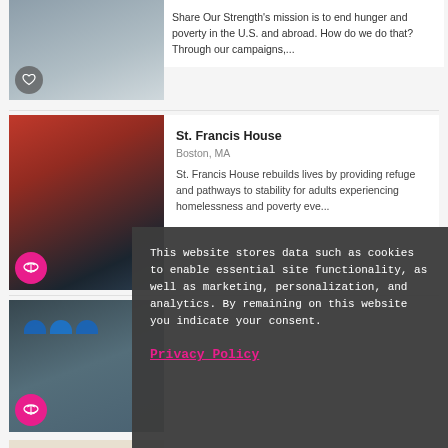[Figure (photo): Partial card showing a person at a table with food items, with a heart icon button overlay]
Share Our Strength's mission is to end hunger and poverty in the U.S. and abroad. How do we do that? Through our campaigns,...
[Figure (photo): Person in red apron with colorful items in background, St. Francis House]
St. Francis House
Boston, MA
St. Francis House rebuilds lives by providing refuge and pathways to stability for adults experiencing homelessness and poverty eve...
[Figure (photo): Group of workers in blue hard hats posing together]
This website stores data such as cookies to enable essential site functionality, as well as marketing, personalization, and analytics. By remaining on this website you indicate your consent.
Privacy Policy
[Figure (photo): City Harvest branded box being held, partial view]
New York, NY